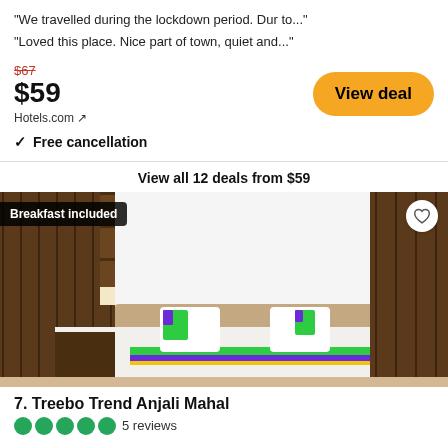"We travelled during the lockdown period. Dur to..."
"Loved this place. Nice part of town, quiet and..."
$67 (strikethrough), $59, Hotels.com ↗
View deal
✓  Free cancellation
View all 12 deals from $59
[Figure (photo): Hotel room photo showing a double bed with green, purple and yellow accents, wooden headboard with decorative carvings, and 'Breakfast included' badge in the top left corner.]
7. Treebo Trend Anjali Mahal
●●●●● (half) 5 reviews